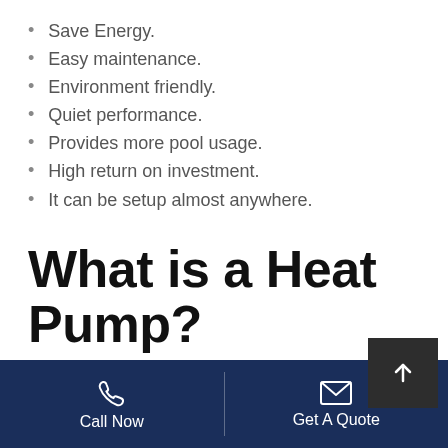Save Energy.
Easy maintenance.
Environment friendly.
Quiet performance.
Provides more pool usage.
High return on investment.
It can be setup almost anywhere.
What is a Heat Pump?
A heat pump is another option that you
Call Now   Get A Quote